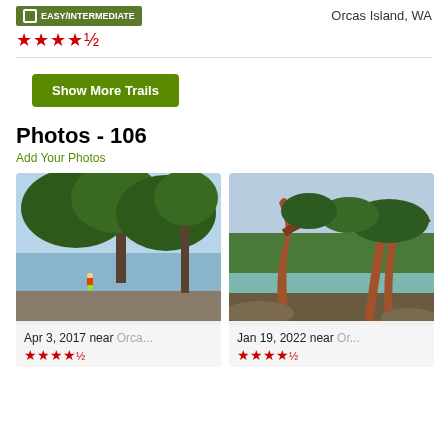[Figure (other): Green badge reading EASY/INTERMEDIATE with checkbox icon]
Orcas Island, WA
★★★★½
Show More Trails
Photos - 106
Add Your Photos
[Figure (photo): Hiker standing on rocky outcrop overlooking water with tall pine trees, Apr 3, 2017 near Orca...]
Apr 3, 2017 near Orca...
★★★★½
[Figure (photo): Twisted pine trees near turquoise lake, Jan 19, 2022 near Or...]
Jan 19, 2022 near Or...
★★★★½